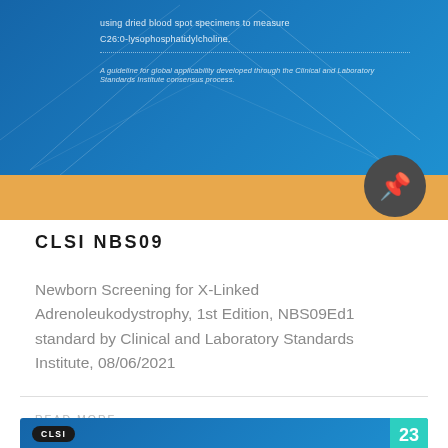[Figure (illustration): Top banner with blue gradient background and orange strip. Faint geometric line pattern overlay. Text reads: 'using dried blood spot specimens to measure' and 'C26:0-lysophosphatidylcholine.' followed by a dotted line and italic text 'A guideline for global applicability developed through the Clinical and Laboratory Standards Institute consensus process.']
CLSI NBS09
Newborn Screening for X-Linked Adrenoleukodystrophy, 1st Edition, NBS09Ed1 standard by Clinical and Laboratory Standards Institute, 08/06/2021
READ MORE →
[Figure (illustration): Bottom partial card with blue gradient background. Left: CLSI badge label in dark pill. Right: teal square with number 23.]